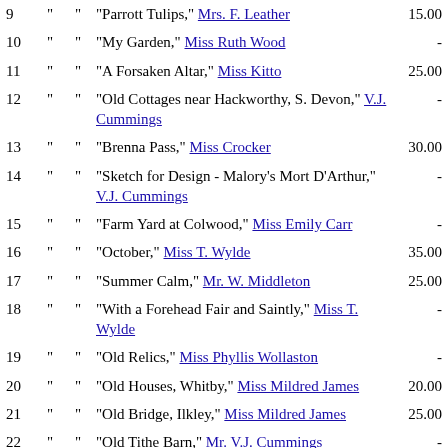| # |  |  | Title / Artist | Price |
| --- | --- | --- | --- | --- |
| 9 | " | " | "Parrott Tulips," Mrs. F. Leather | 15.00 |
| 10 | " | " | "My Garden," Miss Ruth Wood | - |
| 11 | " | " | "A Forsaken Altar," Miss Kitto | 25.00 |
| 12 | " | " | "Old Cottages near Hackworthy, S. Devon," V.J. Cummings | - |
| 13 | " | " | "Brenna Pass," Miss Crocker | 30.00 |
| 14 | " | " | "Sketch for Design - Malory's Mort D'Arthur," V.J. Cummings | - |
| 15 | " | " | "Farm Yard at Colwood," Miss Emily Carr | - |
| 16 | " | " | "October," Miss T. Wylde | 35.00 |
| 17 | " | " | "Summer Calm," Mr. W. Middleton | 25.00 |
| 18 | " | " | "With a Forehead Fair and Saintly," Miss T. Wylde | - |
| 19 | " | " | "Old Relics," Miss Phyllis Wollaston | - |
| 20 | " | " | "Old Houses, Whitby," Miss Mildred James | 20.00 |
| 21 | " | " | "Old Bridge, Ilkley," Miss Mildred James | 25.00 |
| 22 | " | " | "Old Tithe Barn," Mr. V.J. Cummings | - |
| 23 | " | " | "In Stanley Park," Miss Emily Carr | - |
| 24 | " | " | "Winter Twilight, Richmond Bridge," |  |